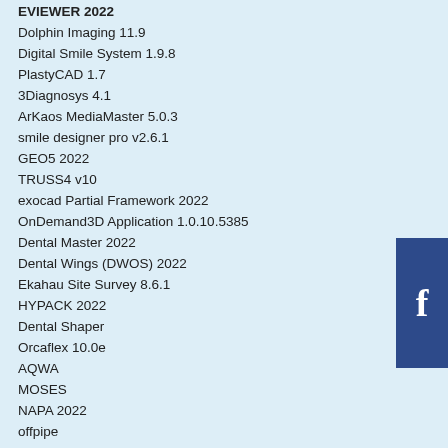EVIEWER 2022
Dolphin Imaging 11.9
Digital Smile System 1.9.8
PlastyCAD 1.7
3Diagnosys 4.1
ArKaos MediaMaster 5.0.3
smile designer pro v2.6.1
GEO5 2022
TRUSS4 v10
exocad Partial Framework 2022
OnDemand3D Application 1.0.10.5385
Dental Master 2022
Dental Wings (DWOS) 2022
Ekahau Site Survey 8.6.1
HYPACK 2022
Dental Shaper
Orcaflex 10.0e
AQWA
MOSES
NAPA 2022
offpipe
maxsurf
DNV GL AS PHAST
DNV safty offshore 7.2
aveva bocad suite 2.2.0.3
AVEVA Engineering 14.1 SP1